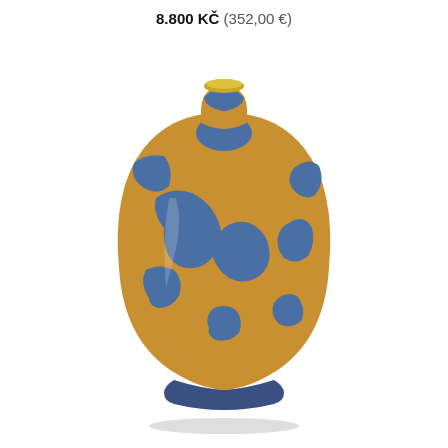8.800 KČ (352,00 €)
[Figure (photo): A ceramic vase with an amber/mustard yellow base glaze and irregular blue crystalline or poured glaze patches scattered across the surface. The vase has a rounded bulbous body, narrow neck, and small mouth with a gold rim. The style suggests handmade studio pottery.]